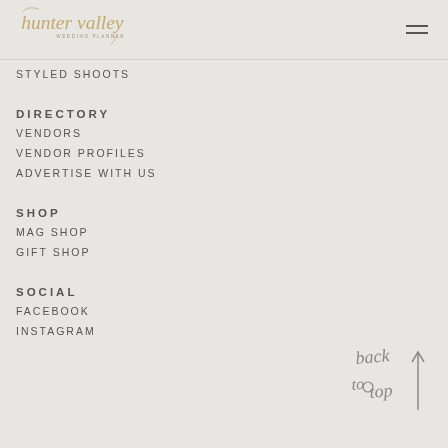hunter valley WEDDING PLANNER
STYLED SHOOTS
DIRECTORY
VENDORS
VENDOR PROFILES
ADVERTISE WITH US
SHOP
MAG SHOP
GIFT SHOP
SOCIAL
FACEBOOK
INSTAGRAM
[Figure (illustration): Handwritten 'back to top' text with an upward arrow, in grey ink script style]